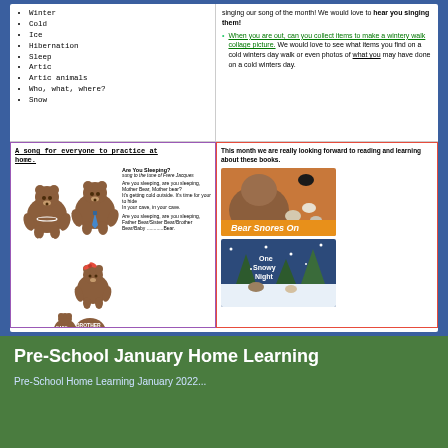Winter
Cold
Ice
Hibernation
Sleep
Artic
Artic animals
Who, what, where?
Snow
singing our song of the month! We would love to hear you singing them!
When you are out, can you collect items to make a wintery walk collage picture. We would love to see what items you find on a cold winters day walk or even photos of what you may have done on a cold winters day.
A song for everyone to practice at home.
[Figure (illustration): Cartoon bears labeled Mother Bear, Father Bear, Sister Bear, Brother Bear, Baby Bear with song lyrics for Are You Sleeping sung to the tune of Frere Jacques]
This month we are really looking forward to reading and learning about these books.
[Figure (photo): Book cover of Bear Snores On showing bear and forest animals]
[Figure (photo): Book cover of One Snowy Night showing animals in snow scene]
Pre-School January Home Learning
Pre-School Home Learning January 2022...